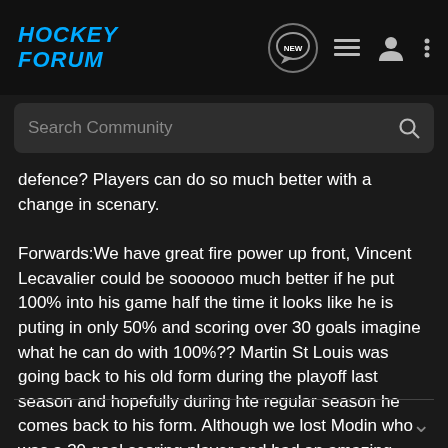HOCKEY FORUM
Search Community
defence? Players can do so much better with a change in scenary.
Forwards:We have great fire power up front, Vincent Lecavalier could be soooooo much better if he put 100% into his game half the time it looks like he is puting in only 50% and scoring over 30 goals imagine what he can do with 100%?? Martin St Louis was going back to his old form during the playoff last season and hopefully during hte regular season he comes back to his form. Although we lost Modin who was a 30 goal scoring player and had an amazing wrist shot 😠 we still have Fedotenko, Prospal, and even Boyle who is an offensive defencemen